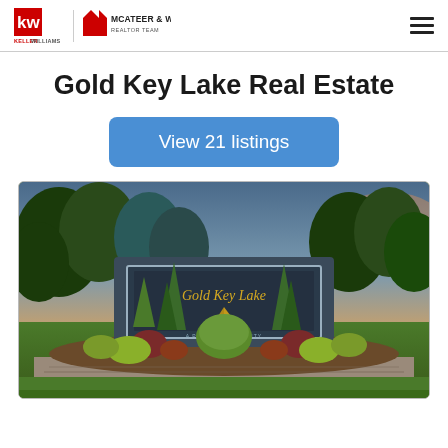KW KELLERWILLIAMS | McAteer & Will
Gold Key Lake Real Estate
View 21 listings
[Figure (photo): Entrance sign for Gold Key Lake community, showing a stone monument with 'Gold Key Lake' text and sailing boat graphic, surrounded by ornamental shrubs and trees at dusk]